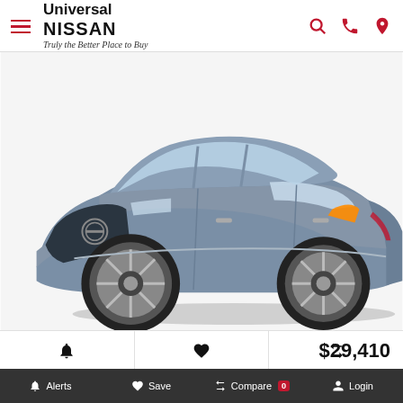Universal NISSAN — Truly the Better Place to Buy
[Figure (photo): 2022 Nissan Kicks SR in steel blue/grey color, front 3/4 view on white background]
🔔 ♥ ⇄
2022 Nissan Kicks SR
Stock: 530198
Internet Price: $29,410
Alerts   Save   Compare 0   Login